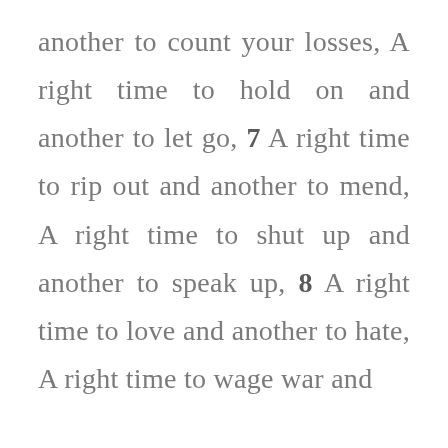another to count your losses, A right time to hold on and another to let go, 7 A right time to rip out and another to mend, A right time to shut up and another to speak up, 8 A right time to love and another to hate, A right time to wage war and